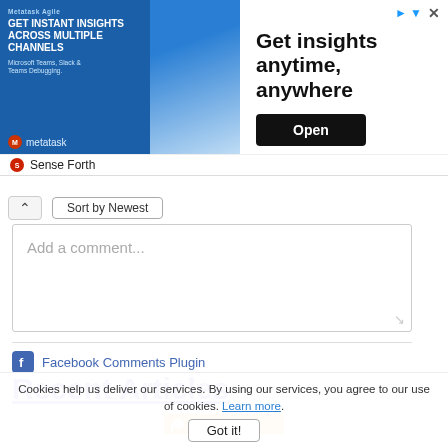[Figure (screenshot): Advertisement banner: 'Get insights anytime, anywhere' with Open button and Sense Forth logo]
Sort by Newest
Add a comment...
Facebook Comments Plugin
Recent Articles
[Figure (screenshot): RSS feed button/bar in orange and white]
Cookies help us deliver our services. By using our services, you agree to our use of cookies. Learn more.
Got it!